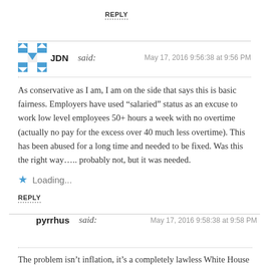REPLY
JDN said: May 17, 2016 9:56:38 at 9:56 PM
As conservative as I am, I am on the side that says this is basic fairness. Employers have used “salaried” status as an excuse to work low level employees 50+ hours a week with no overtime (actually no pay for the excess over 40 much less overtime). This has been abused for a long time and needed to be fixed. Was this the right way….. probably not, but it was needed.
Loading...
REPLY
pyrrhus said: May 17, 2016 9:58:38 at 9:58 PM
The problem isn’t inflation, it’s a completely lawless White House and a Congress that refuses to do anything about it.